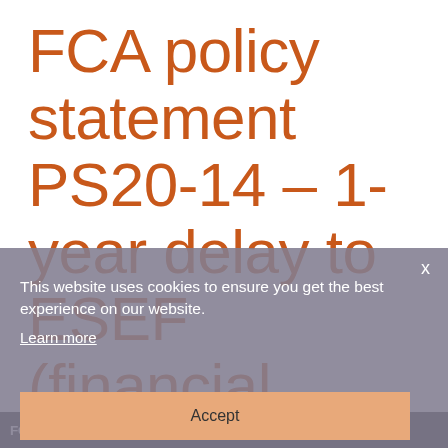FCA policy statement PS20-14 – 1-year delay to ESEF (financial electronic formats)
This website uses cookies to ensure you get the best experience on our website. Learn more
FCA policy statement PS20-14 – 1-year